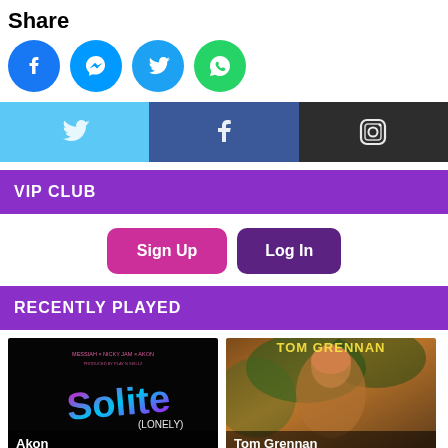Share
[Figure (infographic): Row of four social media share icons: Facebook (blue circle), Messenger (blue circle), Twitter (blue circle), WhatsApp (green circle)]
[Figure (infographic): Social media bar with three sections: Twitter (light blue), Facebook (dark blue), Instagram (dark gray) each with their respective icons]
VIP CLUB
[Figure (infographic): Two buttons: Sign Up (magenta/pink) and Log In (dark purple)]
RECENTLY PLAYED
[Figure (photo): Album art for Solite (Lonely) by Akon, featuring neon purple/pink bubble text on black background with Messiah x Nicky Jam x Akon credits]
[Figure (photo): Album art for Tom Grennan showing artist in outdoor nature setting with warm tones]